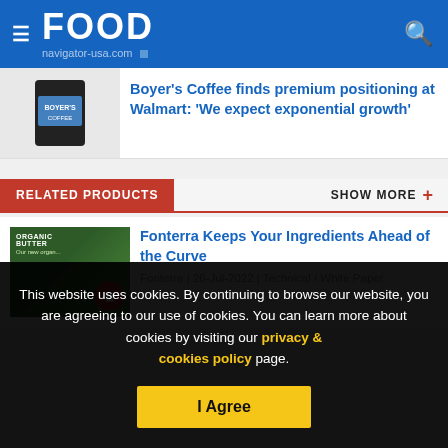FOOD navigator-usa.com
Boyer's Coffee finds premium positioning at Walmart: 'We expect exponential growth'
RELATED PRODUCTS
Fonterra Keeps Your Ingredients Ahead of the Curve
Fonterra | 26-Jul-2022 | Technical / White Paper
This website uses cookies. By continuing to browse our website, you are agreeing to our use of cookies. You can learn more about cookies by visiting our privacy & cookies policy page.